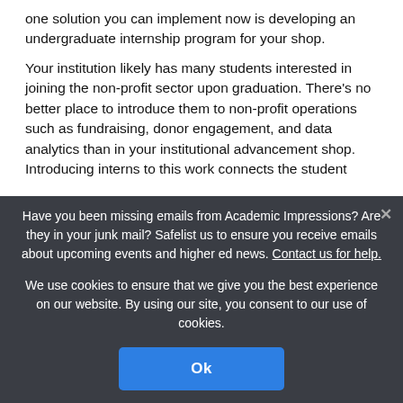one solution you can implement now is developing an undergraduate internship program for your shop.
Your institution likely has many students interested in joining the non-profit sector upon graduation. There’s no better place to introduce them to non-profit operations such as fundraising, donor engagement, and data analytics than in your institutional advancement shop. Introducing interns to this work connects the student
Have you been missing emails from Academic Impressions? Are they in your junk mail? Safelist us to ensure you receive emails about upcoming events and higher ed news. Contact us for help.
We use cookies to ensure that we give you the best experience on our website. By using our site, you consent to our use of cookies.
Ok